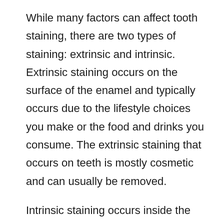While many factors can affect tooth staining, there are two types of staining: extrinsic and intrinsic. Extrinsic staining occurs on the surface of the enamel and typically occurs due to the lifestyle choices you make or the food and drinks you consume. The extrinsic staining that occurs on teeth is mostly cosmetic and can usually be removed.
Intrinsic staining occurs inside the tooth structure, which makes the stains more difficult to remove. Intrinsic stains are usually caused by outside factors, like medication, chemotherapy, prescription mouthwash, and excess fluoride.